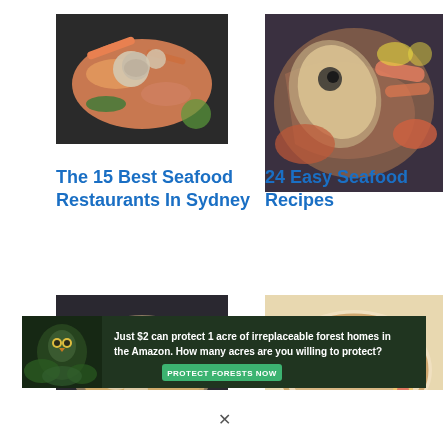[Figure (photo): Overhead shot of mixed raw seafood including shrimp, clams, fish on dark background]
[Figure (photo): Close-up of fresh seafood including whole fish, lobster, shrimp, octopus on ice]
The 15 Best Seafood Restaurants In Sydney
24 Easy Seafood Recipes
[Figure (photo): Bowl of spaghetti alle vongole with clams in a pan]
[Figure (photo): Japanese ramen bowl with chashu pork, naruto, soft-boiled egg, and greens]
[Figure (infographic): Advertisement banner: Just $2 can protect 1 acre of irreplaceable forest homes in the Amazon. How many acres are you willing to protect? PROTECT FORESTS NOW]